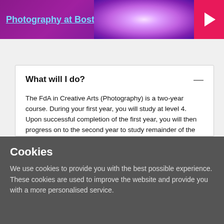[Figure (screenshot): Purple banner with 'Photography at Boston College' title text in blue underlined font, a glowing brain/neuron image in center, and a pink/red play button on the right]
What will I do?
The FdA in Creative Arts (Photography) is a two-year course. During your first year, you will study at level 4. Upon successful completion of the first year, you will then progress on to the second year to study remainder of the FdA.
The FdA in Creative Arts (Photography) is made up of
Cookies
We use cookies to provide you with the best possible experience. These cookies are used to improve the website and provide you with a more personalised service.